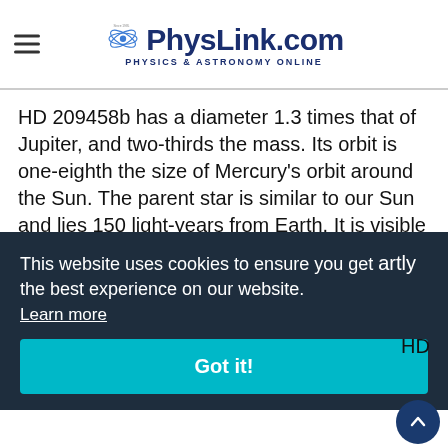PhysLink.com — Physics & Astronomy Online
HD 209458b has a diameter 1.3 times that of Jupiter, and two-thirds the mass. Its orbit is one-eighth the size of Mercury's orbit around the Sun. The parent star is similar to our Sun and lies 150 light-years from Earth. It is visible with binoculars as a seventh magnitude star in the constellation Pegasus. In 1999 this star suddenly
This website uses cookies to ensure you get the best experience on our website.
Learn more
Got it!
HD